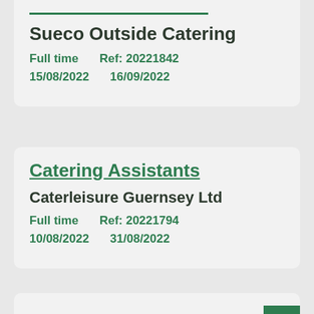Sueco Outside Catering
Full time    Ref: 20221842
15/08/2022    16/09/2022
Catering Assistants
Caterleisure Guernsey Ltd
Full time    Ref: 20221794
10/08/2022    31/08/2022